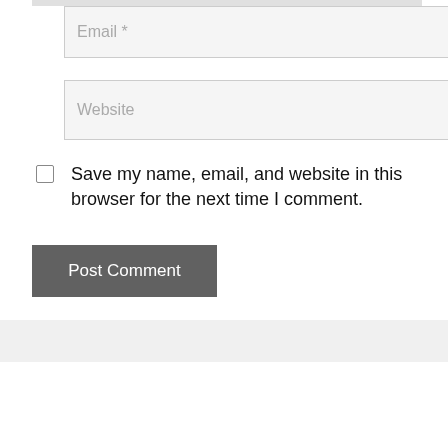[Figure (screenshot): Email input field with placeholder text 'Email *']
[Figure (screenshot): Website input field with placeholder text 'Website']
Save my name, email, and website in this browser for the next time I comment.
Post Comment
Search
Type Here
Search